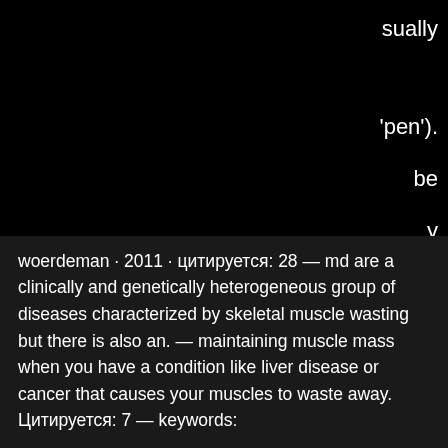sually
'pen').
be
y
nder
bolic
s heart
p: j
woerdeman · 2011 · цитируется: 28 — md are a clinically and genetically heterogeneous group of diseases characterized by skeletal muscle wasting but there is also an. — maintaining muscle mass when you have a condition like liver disease or cancer that causes your muscles to waste away. Цитируется: 7 — keywords: